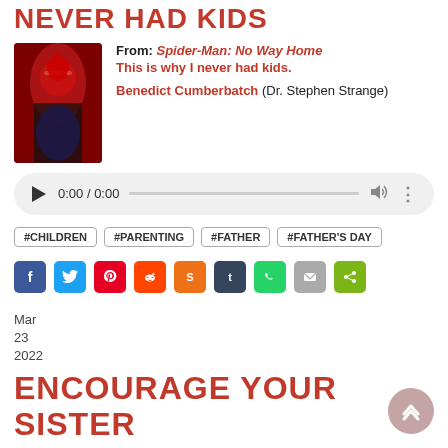NEVER HAD KIDS
From: Spider-Man: No Way Home
This is why I never had kids.
Benedict Cumberbatch (Dr. Stephen Strange)
[Figure (screenshot): Audio player showing 0:00 / 0:00 with play button, progress bar, volume icon and more options]
#CHILDREN #PARENTING #FATHER #FATHER'S DAY
[Figure (infographic): Social sharing icons: Facebook, Twitter, Pinterest, Reddit, StumbleUpon, Tumblr, WhatsApp, Email, Share]
Mar
23
2022
ENCOURAGE YOUR SISTER
From: Daria